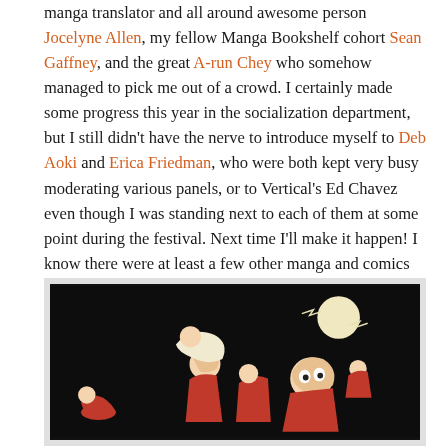manga translator and all around awesome person Jocelyne Allen, my fellow Manga Bookshelf cohort Sean Gaffney, and the great A-run Chey who somehow managed to pick me out of a crowd. I certainly made some progress this year in the socialization department, but I still didn't have the nerve to introduce myself to Deb Aoki and Erica Friedman, who were both kept very busy moderating various panels, or to Vertical's Ed Chavez even though I was standing next to each of them at some point during the festival. Next time I'll make it happen! I know there were at least a few other manga and comics bloggers at TCAF—like Brigid Alverson and Alexander Hoffman, among others—but I missed them, too.
[Figure (illustration): Dark woodblock-style illustration on black background showing figures in red and white engaged in dynamic poses, reminiscent of Japanese ukiyo-e art. A moon is visible in the upper right area.]